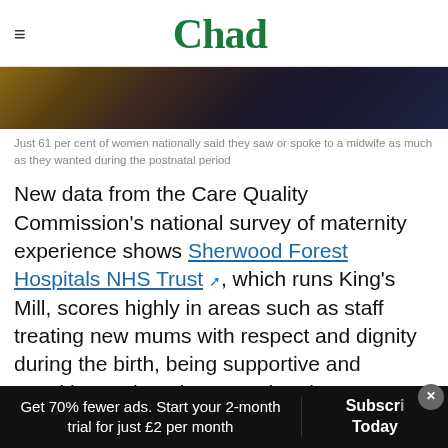Chad
[Figure (photo): Close-up photograph of hands, dark background, person holding something with red-painted nails visible]
Just 61 per cent of women nationally said they saw or spoke to a midwife as much as they wanted during the postnatal period
New data from the Care Quality Commission's national survey of maternity experience shows Sherwood Forest Hospitals NHS Trust, which runs King's Mill, scores highly in areas such as staff treating new mums with respect and dignity during the birth, being supportive and speaking to them in a way that they understand
Get 70% fewer ads. Start your 2-month trial for just £2 per month
Subscribe Today